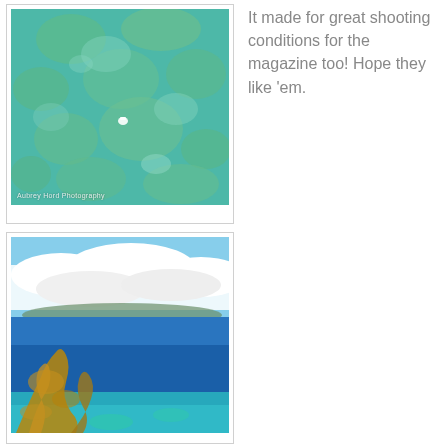It made for great shooting conditions for the magazine too! Hope they like 'em.
[Figure (photo): Aerial view of a coral reef underwater with turquoise and green tones, a small figure visible in the center. Watermark reads 'Aubrey Hord Photography'.]
[Figure (photo): Coastal landscape with deep blue ocean, white clouds, distant mountains, and coral/seaweed visible in the foreground.]